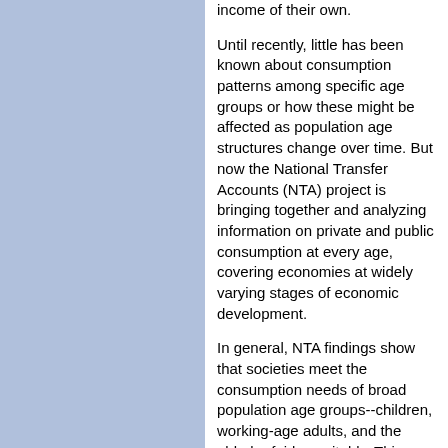income of their own.
Until recently, little has been known about consumption patterns among specific age groups or how these might be affected as population age structures change over time. But now the National Transfer Accounts (NTA) project is bringing together and analyzing information on private and public consumption at every age, covering economies at widely varying stages of economic development.
In general, NTA findings show that societies meet the consumption needs of broad population age groups--children, working-age adults, and the elderly--fairly equitably. This general pattern holds whether societies are rich or poor and whether people rely largely on families, governments, or financial markets to support their consumption. There are some interesting variations, however. The consumption of children